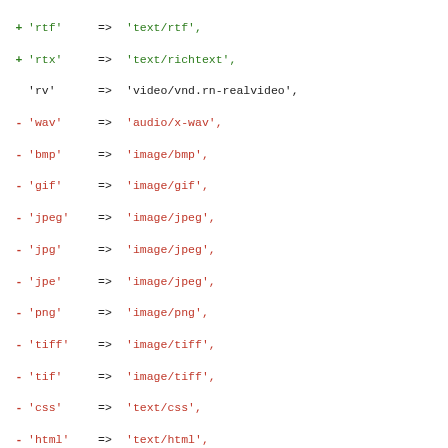Code diff showing MIME type mappings for file extensions including rtf, rtx, rv, wav, bmp, gif, jpeg, jpg, jpe, png, tiff, tif, css, html, htm, sea, shtml, txt, sit, so, smi, smil, swf, tar, text, log, rtx, rtf, xml, xsl, mpeg, mpg